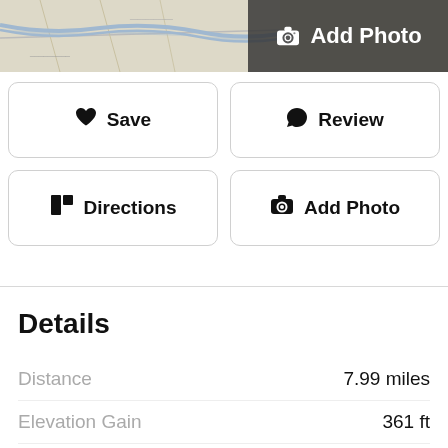[Figure (map): Topographic map strip showing terrain with roads and waterways]
Add Photo
Save
Review
Directions
Add Photo
Details
|  |  |
| --- | --- |
| Distance | 7.99 miles |
| Elevation Gain | 361 ft |
| Route Type | Out and Back |